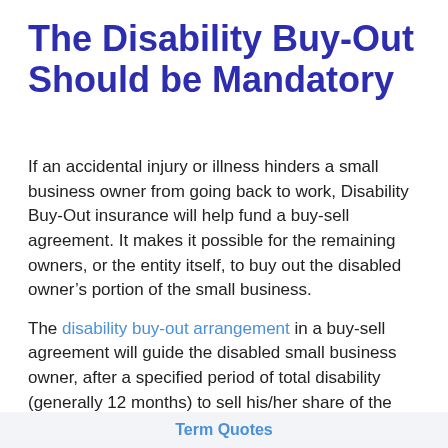The Disability Buy-Out Should be Mandatory
If an accidental injury or illness hinders a small business owner from going back to work, Disability Buy-Out insurance will help fund a buy-sell agreement. It makes it possible for the remaining owners, or the entity itself, to buy out the disabled owner’s portion of the small business.
The disability buy-out arrangement in a buy-sell agreement will guide the disabled small business owner, after a specified period of total disability (generally 12 months) to sell his/her share of the small business to the remaining owners or to the business organization itself. The remaining business
Term Quotes